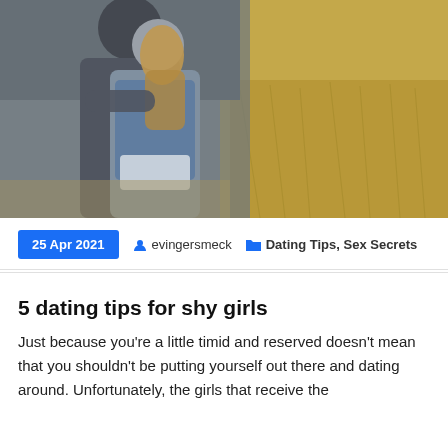[Figure (photo): A couple embracing outdoors in a field. The woman has long blonde hair and is wearing a denim jacket over a white hoodie. The man is wearing a grey hoodie. The background shows dry golden field grass.]
25 Apr 2021   evingersmeck   Dating Tips, Sex Secrets
5 dating tips for shy girls
Just because you're a little timid and reserved doesn't mean that you shouldn't be putting yourself out there and dating around. Unfortunately, the girls that receive the